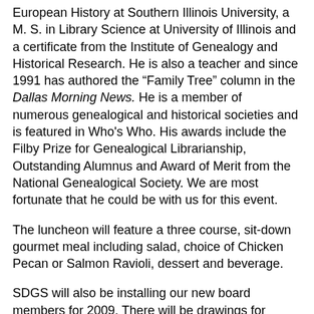European History at Southern Illinois University, a M. S. in Library Science at University of Illinois and a certificate from the Institute of Genealogy and Historical Research. He is also a teacher and since 1991 has authored the “Family Tree” column in the Dallas Morning News. He is a member of numerous genealogical and historical societies and is featured in Who's Who. His awards include the Filby Prize for Genealogical Librarianship, Outstanding Alumnus and Award of Merit from the National Genealogical Society. We are most fortunate that he could be with us for this event.
The luncheon will feature a three course, sit-down gourmet meal including salad, choice of Chicken Pecan or Salmon Ravioli, dessert and beverage.
SDGS will also be installing our new board members for 2009. There will be drawings for numerous door prizes. There will be a special drawing for a 7 night hotel package for the Plaza Hotel in Salt Lake City. Tickets for this will be available at the seminar and by mail on the SDGS web site.
Get your reservations in now before the holiday season